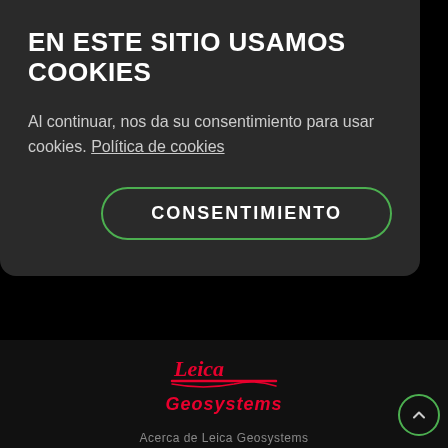EN ESTE SITIO USAMOS COOKIES
Al continuar, nos da su consentimiento para usar cookies. Política de cookies
CONSENTIMIENTO
[Figure (logo): Leica Geosystems logo with red cursive script and italic red Geosystems text]
Acerca de Leica Geosystems
Follow Us (Twitter, Facebook, Instagram, LinkedIn icons)
Marca | Términos y condiciones de uso | Política de privacid... | Política de Tienda | Política de cookies | Acerca de nosotros